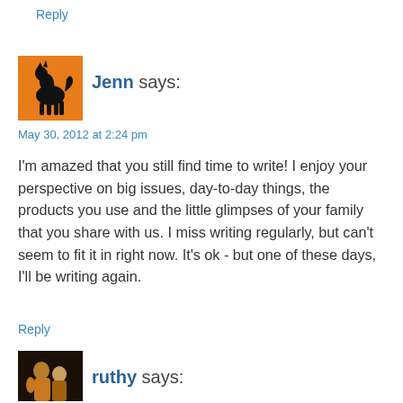Reply
[Figure (illustration): Orange square avatar with a black horse/dog silhouette illustration]
Jenn says:
May 30, 2012 at 2:24 pm
I'm amazed that you still find time to write! I enjoy your perspective on big issues, day-to-day things, the products you use and the little glimpses of your family that you share with us. I miss writing regularly, but can't seem to fit it in right now. It's ok - but one of these days, I'll be writing again.
Reply
[Figure (photo): Small photo avatar showing people (woman and child) against a dark background]
ruthy says: